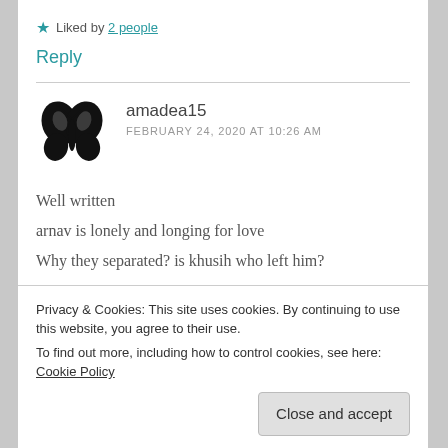★ Liked by 2 people
Reply
[Figure (illustration): Black butterfly silhouette avatar icon]
amadea15
FEBRUARY 24, 2020 AT 10:26 AM
Well written
arnav is lonely and longing for love
Why they separated? is khusih who left him?
Privacy & Cookies: This site uses cookies. By continuing to use this website, you agree to their use.
To find out more, including how to control cookies, see here: Cookie Policy